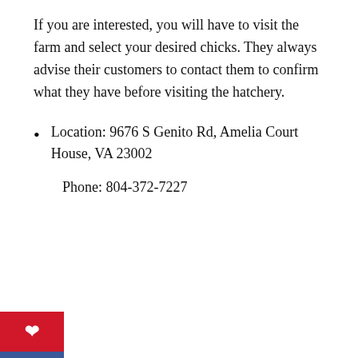If you are interested, you will have to visit the farm and select your desired chicks. They always advise their customers to contact them to confirm what they have before visiting the hatchery.
Location: 9676 S Genito Rd, Amelia Court House, VA 23002
Phone: 804-372-7227
ADVERTISEMENT